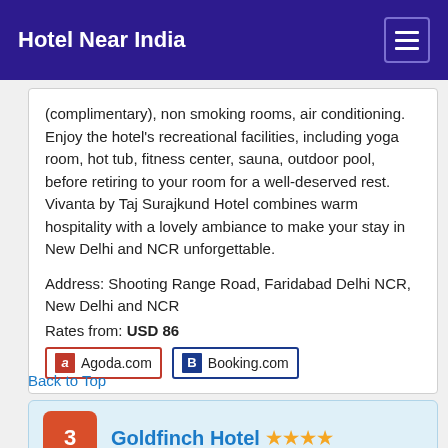Hotel Near India
(complimentary), non smoking rooms, air conditioning. Enjoy the hotel's recreational facilities, including yoga room, hot tub, fitness center, sauna, outdoor pool, before retiring to your room for a well-deserved rest. Vivanta by Taj Surajkund Hotel combines warm hospitality with a lovely ambiance to make your stay in New Delhi and NCR unforgettable.
Address: Shooting Range Road, Faridabad Delhi NCR, New Delhi and NCR
Rates from: USD 86
[Figure (other): Agoda.com and Booking.com booking buttons]
Back to Top
3 Goldfinch Hotel ★★★★
2.4 km from Butterfly Park, Asola Bhatti Wildlife Sanctuary